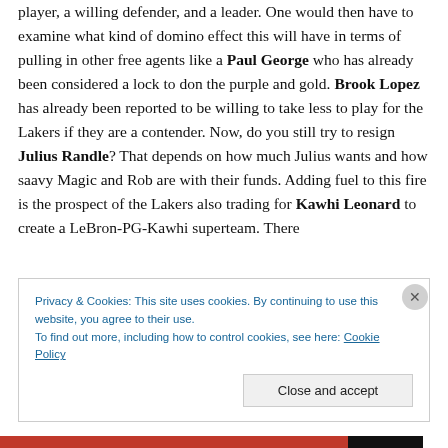player, a willing defender, and a leader. One would then have to examine what kind of domino effect this will have in terms of pulling in other free agents like a Paul George who has already been considered a lock to don the purple and gold. Brook Lopez has already been reported to be willing to take less to play for the Lakers if they are a contender. Now, do you still try to resign Julius Randle? That depends on how much Julius wants and how saavy Magic and Rob are with their funds. Adding fuel to this fire is the prospect of the Lakers also trading for Kawhi Leonard to create a LeBron-PG-Kawhi superteam. There
Privacy & Cookies: This site uses cookies. By continuing to use this website, you agree to their use.
To find out more, including how to control cookies, see here: Cookie Policy